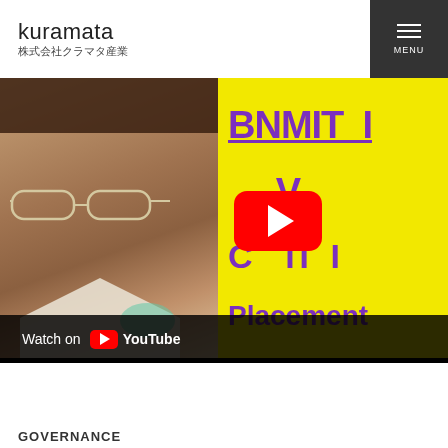kuramata 株式会社クラマタ産業 MENU
[Figure (screenshot): YouTube video thumbnail showing a man with glasses on the left side against a green background, and a yellow sign on the right with purple bold text reading 'BNMIT', 'V', 'CDIT', 'Placement'. A YouTube play button (red rounded rectangle with white triangle) overlays the right half. A dark bar at the bottom shows 'Watch on YouTube'.]
GOVERNANCE